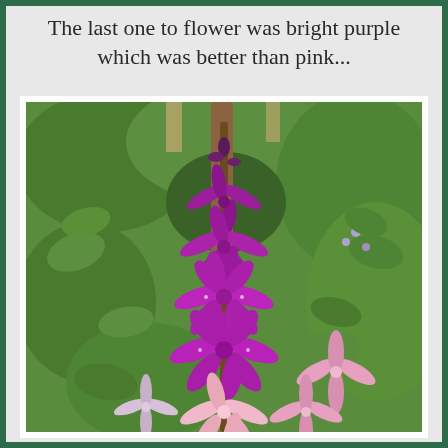The last one to flower was bright purple which was better than pink...
[Figure (photo): A tall bright purple flowering plant (lobelia or similar) with deep magenta/purple star-shaped flowers along a central stem, surrounded by green foliage and pink flowers in a garden setting.]